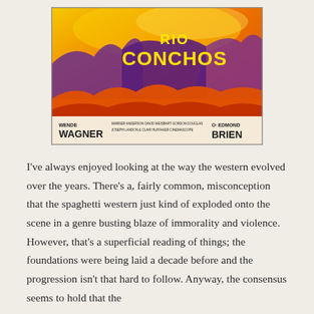[Figure (photo): Movie poster for 'Rio Conchos' showing dramatic western artwork with orange and red flames, figures on horseback, mountains, and text credits including Wende Wagner and Edmond O'Brien]
I've always enjoyed looking at the way the western evolved over the years. There's a, fairly common, misconception that the spaghetti western just kind of exploded onto the scene in a genre busting blaze of immorality and violence. However, that's a superficial reading of things; the foundations were being laid a decade before and the progression isn't that hard to follow. Anyway, the consensus seems to hold that the